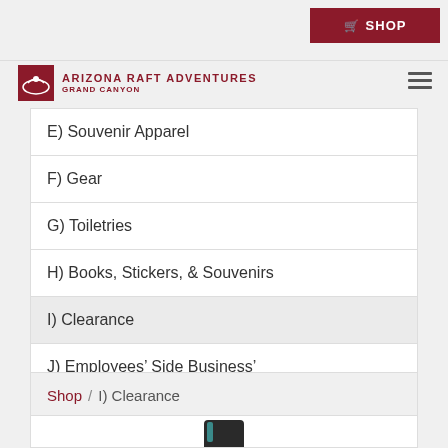SHOP
[Figure (logo): Arizona Raft Adventures Grand Canyon logo with raft icon]
E) Souvenir Apparel
F) Gear
G) Toiletries
H) Books, Stickers, & Souvenirs
I) Clearance
J) Employees' Side Business'
Shop / I) Clearance
[Figure (photo): Product image - dark colored boot or similar item partially visible]